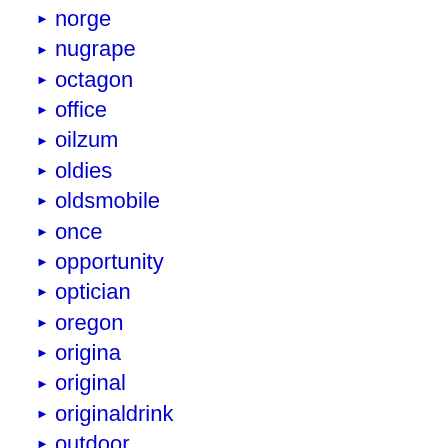norge
nugrape
octagon
office
oilzum
oldies
oldsmobile
once
opportunity
optician
oregon
origina
original
originaldrink
outdoor
oversized
pabst
pacific
pair
paul
pennzoil
people
pepper